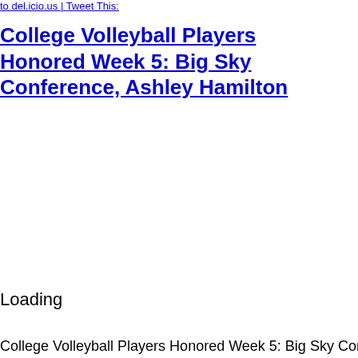to del.icio.us | Tweet This:
College Volleyball Players Honored Week 5: Big Sky Conference, Ashley Hamilton
Loading
College Volleyball Players Honored Week 5: Big Sky Conference, Ashley